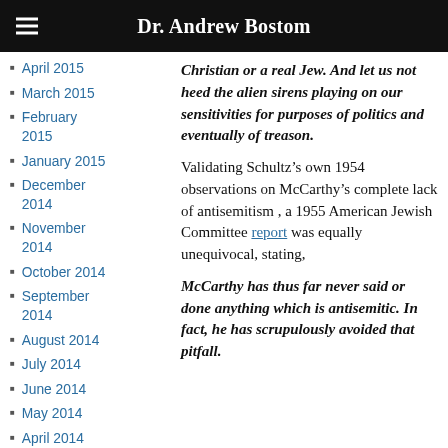Dr. Andrew Bostom
April 2015
March 2015
February 2015
January 2015
December 2014
November 2014
October 2014
September 2014
August 2014
July 2014
June 2014
May 2014
April 2014
Christian or a real Jew. And let us not heed the alien sirens playing on our sensitivities for purposes of politics and eventually of treason.
Validating Schultz’s own 1954 observations on McCarthy’s complete lack of antisemitism , a 1955 American Jewish Committee report was equally unequivocal, stating,
McCarthy has thus far never said or done anything which is antisemitic. In fact, he has scrupulously avoided that pitfall.